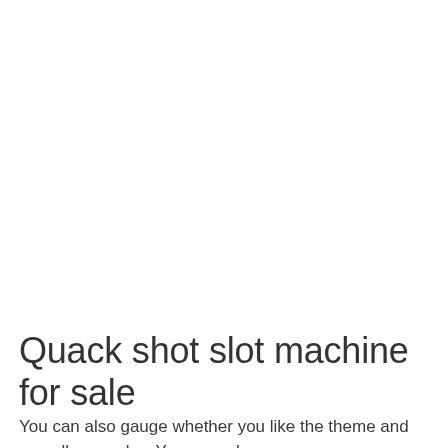Quack shot slot machine for sale
You can also gauge whether you like the theme and overall gameplay. You never have